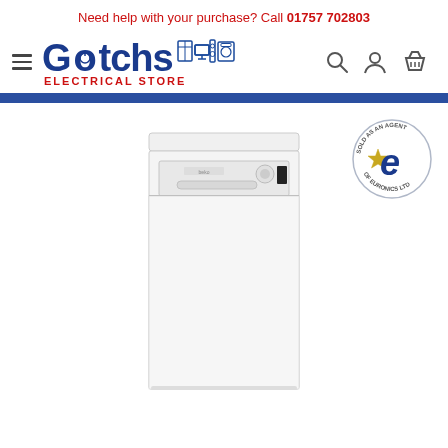Need help with your purchase? Call 01757 702803
[Figure (logo): Gotchs Electrical Store logo with hamburger menu, appliance icons, and navigation icons (search, account, basket)]
[Figure (logo): Sold as an agent of Euronics Ltd circular badge with star and 'e' logo]
[Figure (photo): White freestanding Beko dishwasher product photo]